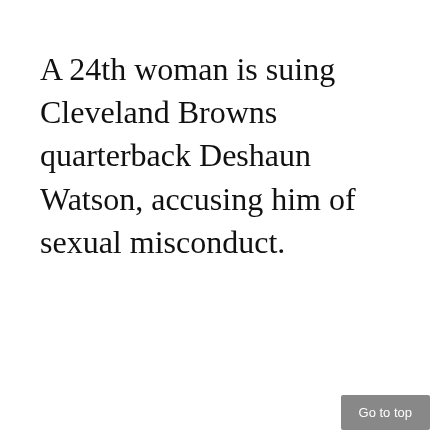A 24th woman is suing Cleveland Browns quarterback Deshaun Watson, accusing him of sexual misconduct.
Go to top